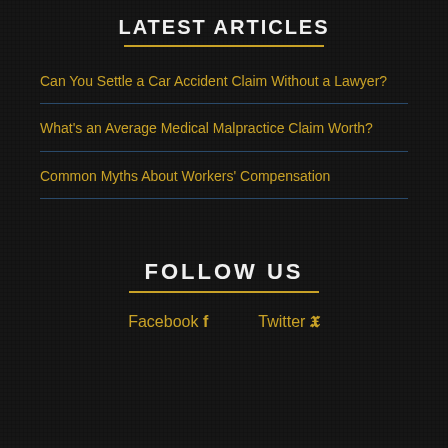LATEST ARTICLES
Can You Settle a Car Accident Claim Without a Lawyer?
What's an Average Medical Malpractice Claim Worth?
Common Myths About Workers' Compensation
FOLLOW US
Facebook  Twitter